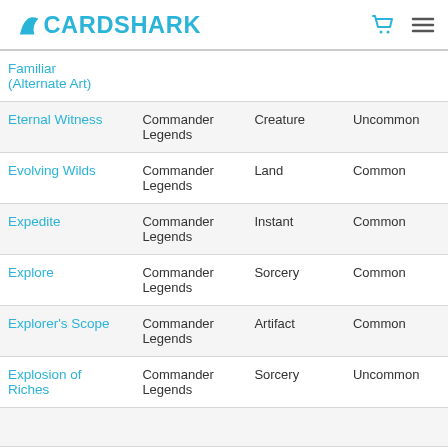CARDSHARK
| Name | Set | Type | Rarity |
| --- | --- | --- | --- |
| Familiar (Alternate Art) |  |  |  |
| Eternal Witness | Commander Legends | Creature | Uncommon |
| Evolving Wilds | Commander Legends | Land | Common |
| Expedite | Commander Legends | Instant | Common |
| Explore | Commander Legends | Sorcery | Common |
| Explorer's Scope | Commander Legends | Artifact | Common |
| Explosion of Riches | Commander Legends | Sorcery | Uncommon |